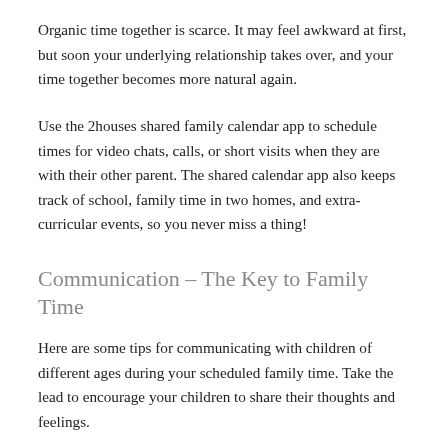Organic time together is scarce. It may feel awkward at first, but soon your underlying relationship takes over, and your time together becomes more natural again.
Use the 2houses shared family calendar app to schedule times for video chats, calls, or short visits when they are with their other parent. The shared calendar app also keeps track of school, family time in two homes, and extra-curricular events, so you never miss a thing!
Communication – The Key to Family Time
Here are some tips for communicating with children of different ages during your scheduled family time. Take the lead to encourage your children to share their thoughts and feelings.